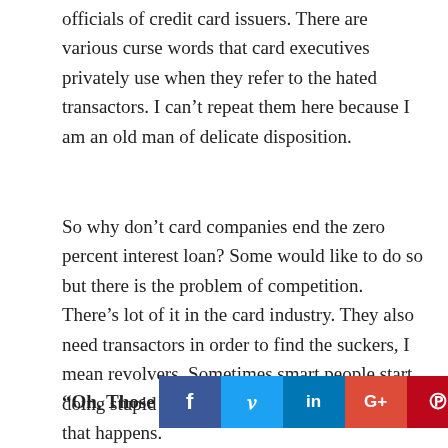officials of credit card issuers. There are various curse words that card executives privately use when they refer to the hated transactors. I can't repeat them here because I am an old man of delicate disposition.
So why don't card companies end the zero percent interest loan? Some would like to do so but there is the problem of competition. There's lot of it in the card industry. They also need transactors in order to find the suckers, I mean revolvers. Sometimes smart people start doing stupid things and card issuers love when that happens.
“Oh, Those
[Figure (infographic): Social media sharing buttons: Facebook (blue), Twitter (light blue), LinkedIn (blue), Google+ (red), Pinterest (dark red)]